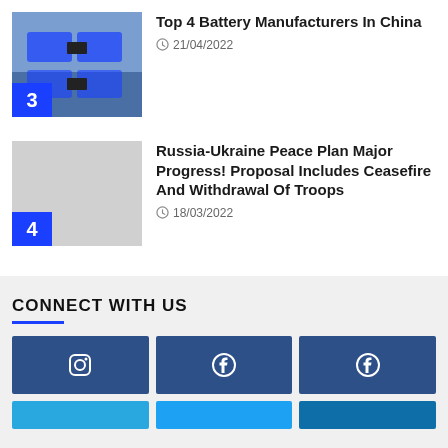Top 4 Battery Manufacturers In China
21/04/2022
Russia-Ukraine Peace Plan Major Progress! Proposal Includes Ceasefire And Withdrawal Of Troops
18/03/2022
CONNECT WITH US
[Figure (other): Social media buttons grid: Instagram (dark blue), Facebook (mid blue), Facebook (dark blue), and three lighter blue bottom row buttons]
[Figure (photo): Blue industrial battery manufacturing equipment on conveyor]
[Figure (photo): Gray placeholder image for article 4]